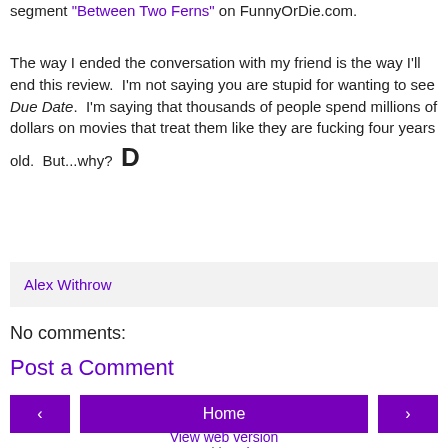segment "Between Two Ferns" on FunnyOrDie.com.
The way I ended the conversation with my friend is the way I'll end this review.  I'm not saying you are stupid for wanting to see Due Date.  I'm saying that thousands of people spend millions of dollars on movies that treat them like they are fucking four years old.  But...why?  D
Alex Withrow
No comments:
Post a Comment
Home
View web version
Powered by Blogger.